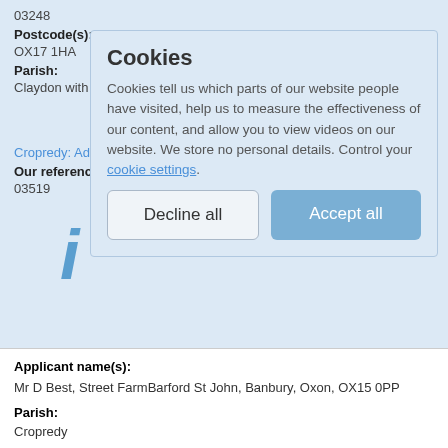03248
Postcode(s):
OX17 1HA
Parish:
Claydon with Clattercot
Cropredy: Add FP: Station Rd to railway bridge, Spring Lane
Our reference:
03519
Cookies
Cookies tell us which parts of our website people have visited, help us to measure the effectiveness of our content, and allow you to view videos on our website. We store no personal details. Control your cookie settings.
Decline all
Accept all
Applicant name(s):
Mr D Best, Street FarmBarford St John, Banbury, Oxon, OX15 0PP
Parish:
Cropredy
Deddington: Add FP: Mill Lane to The Lane, Hempton